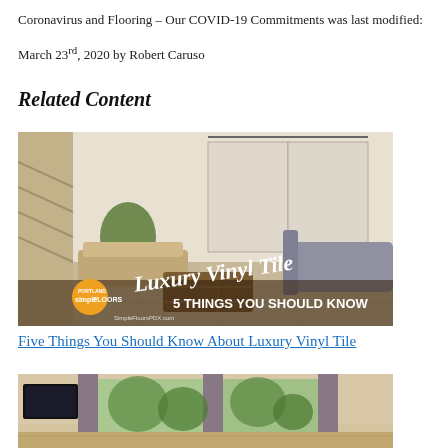Coronavirus and Flooring – Our COVID-19 Commitments was last modified:
March 23rd, 2020 by Robert Caruso
Related Content
[Figure (photo): Interior room with luxury vinyl tile flooring, a sitting area, barn doors, staircase, and overlaid text reading 'Luxury Vinyl Tile 5 Things You Should Know' with the Portland Simple Floors logo.]
Five Things You Should Know About Luxury Vinyl Tile
[Figure (photo): Interior room with wood-look flooring, curtains, a wall-mounted TV, and large windows with trees visible outside.]